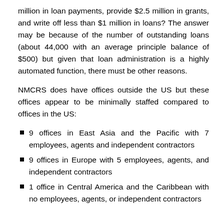million in loan payments, provide $2.5 million in grants, and write off less than $1 million in loans? The answer may be because of the number of outstanding loans (about 44,000 with an average principle balance of $500) but given that loan administration is a highly automated function, there must be other reasons.
NMCRS does have offices outside the US but these offices appear to be minimally staffed compared to offices in the US:
9 offices in East Asia and the Pacific with 7 employees, agents and independent contractors
9 offices in Europe with 5 employees, agents, and independent contractors
1 office in Central America and the Caribbean with no employees, agents, or independent contractors